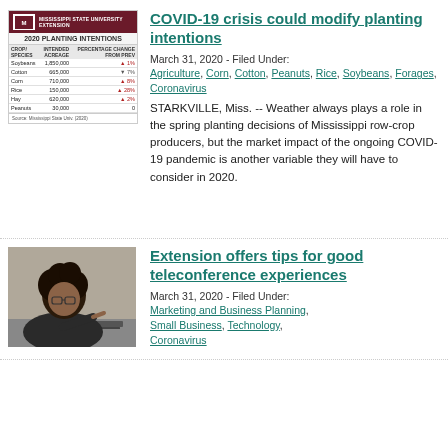[Figure (table-as-image): Mississippi State University Extension infographic showing 2020 Planting Intentions table with crops: Soybeans 1,850,000 +1%, Cotton 665,000 -7%, Corn 710,000 +8%, Rice 150,000 +28%, Hay 620,000 +2%, Peanuts 30,000 0]
COVID-19 crisis could modify planting intentions
March 31, 2020 - Filed Under: Agriculture, Corn, Cotton, Peanuts, Rice, Soybeans, Forages, Coronavirus
STARKVILLE, Miss. -- Weather always plays a role in the spring planting decisions of Mississippi row-crop producers, but the market impact of the ongoing COVID-19 pandemic is another variable they will have to consider in 2020.
[Figure (photo): Photo of a woman with curly hair and glasses working at a computer, pointing at screen]
Extension offers tips for good teleconference experiences
March 31, 2020 - Filed Under: Marketing and Business Planning, Small Business, Technology, Coronavirus